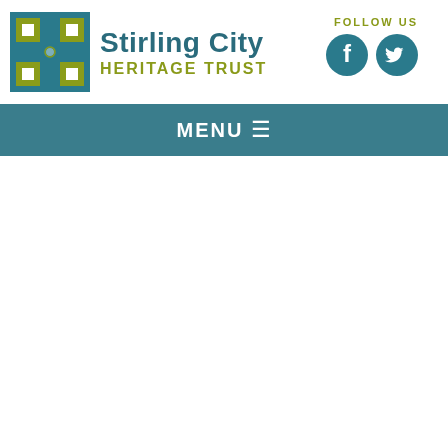[Figure (logo): Stirling City Heritage Trust logo: geometric cross/grid pattern with teal and olive green squares, circle in center]
Stirling City HERITAGE TRUST
FOLLOW US
[Figure (logo): Facebook circular icon in teal]
[Figure (logo): Twitter circular icon in teal]
MENU ≡